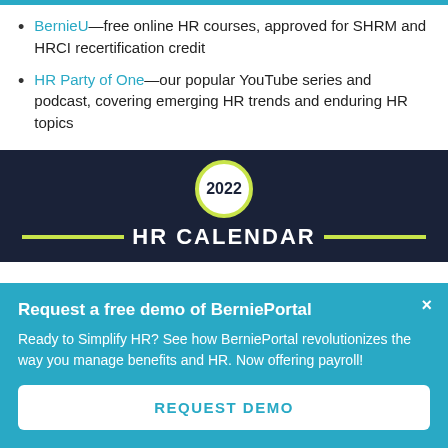BernieU—free online HR courses, approved for SHRM and HRCI recertification credit
HR Party of One—our popular YouTube series and podcast, covering emerging HR trends and enduring HR topics
[Figure (illustration): Dark navy banner with a white circle showing '2022' bordered in yellow-green, and 'HR CALENDAR' in bold white text flanked by yellow-green horizontal lines]
Request a free demo of BerniePortal
Ready to Simplify HR? See how BerniePortal revolutionizes the way you manage benefits and HR. Now offering payroll!
REQUEST DEMO